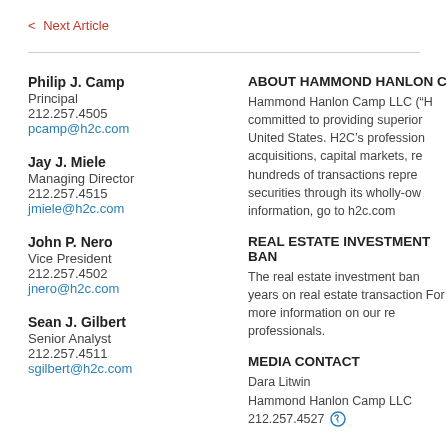< Next Article
Philip J. Camp
Principal
212.257.4505
pcamp@h2c.com
Jay J. Miele
Managing Director
212.257.4515
jmiele@h2c.com
John P. Nero
Vice President
212.257.4502
jnero@h2c.com
Sean J. Gilbert
Senior Analyst
212.257.4511
sgilbert@h2c.com
ABOUT HAMMOND HANLON C
Hammond Hanlon Camp LLC ("H committed to providing superior United States. H2C's profession acquisitions, capital markets, re hundreds of transactions repre securities through its wholly-ow information, go to h2c.com
REAL ESTATE INVESTMENT BAN
The real estate investment ban years on real estate transaction For more information on our re professionals.
MEDIA CONTACT
Dara Litwin
Hammond Hanlon Camp LLC
212.257.4527